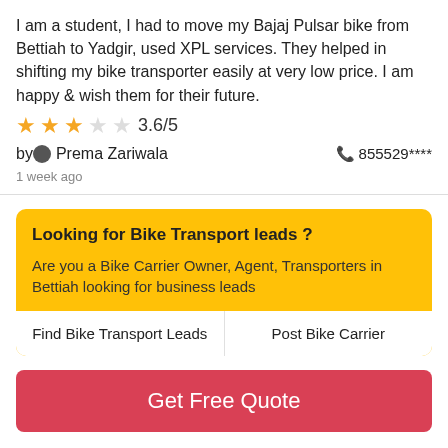I am a student, I had to move my Bajaj Pulsar bike from Bettiah to Yadgir, used XPL services. They helped in shifting my bike transporter easily at very low price. I am happy & wish them for their future.
3.6/5
by Prema Zariwala   855529****
1 week ago
Looking for Bike Transport leads ?
Are you a Bike Carrier Owner, Agent, Transporters in Bettiah looking for business leads
Find Bike Transport Leads
Post Bike Carrier
Get Free Quote